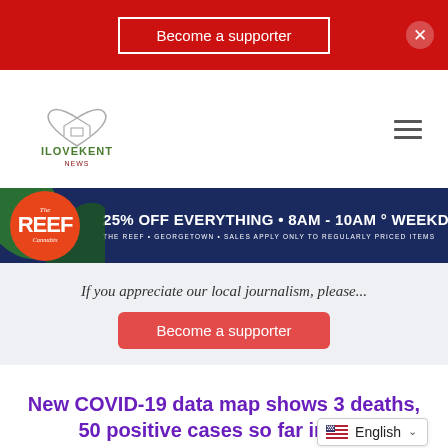Become a supporter
[Figure (logo): ILoveKent logo with heart and house icon, green and maroon text]
[Figure (infographic): The Reef Cannabis ad banner: 25% OFF EVERYTHING • 8AM - 10AM • WEEKDAYS. THE REEF • GEORGETOWN • SALES APPLY ONLY TO REGULARLY PRICED ITEMS]
If you appreciate our local journalism, please...
Become a supporter
New COVID-19 data map shows 3 deaths, 50 positive cases so far in Ken